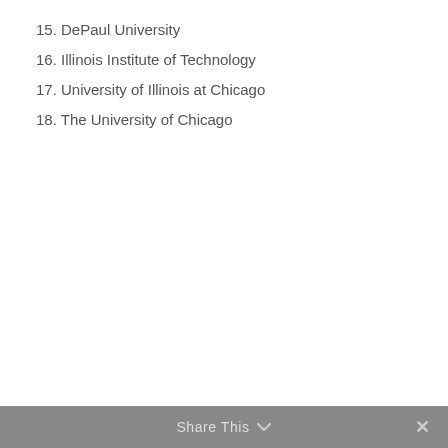15. DePaul University
16. Illinois Institute of Technology
17. University of Illinois at Chicago
18. The University of Chicago
Share This ∨  ✕